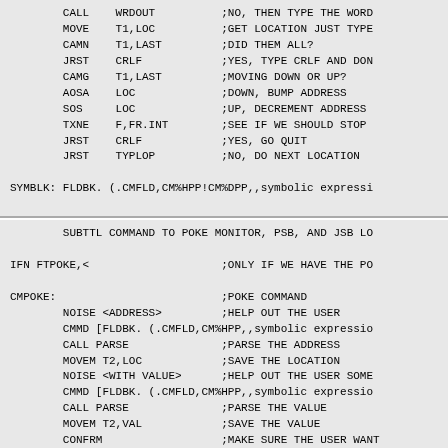CALL WRDOUT ;NO, THEN TYPE THE WORD
        MOVE T1,LOC ;GET LOCATION JUST TYPED
        CAMN T1,LAST ;DID THEM ALL?
        JRST CRLF ;YES, TYPE CRLF AND DONE
        CAMG T1,LAST ;MOVING DOWN OR UP?
        AOSA LOC ;DOWN, BUMP ADDRESS
        SOS LOC ;UP, DECREMENT ADDRESS
        TXNE F,FR.INT ;SEE IF WE SHOULD STOP
        JRST CRLF ;YES, GO QUIT
        JRST TYPLOP ;NO, DO NEXT LOCATION

SYMBLK: FLDBK. (.CMFLD,CM%HPP!CM%DPP,,symbolic expressi
SUBTTL COMMAND TO POKE MONITOR, PSB, AND JSB LO

IFN FTPOKE,<                    ;ONLY IF WE HAVE THE PO

CMPOKE:                         ;POKE COMMAND
        NOISE <ADDRESS>         ;HELP OUT THE USER
        CMMD [FLDBK. (.CMFLD,CM%HPP,,symbolic expressio
        CALL PARSE              ;PARSE THE ADDRESS
        MOVEM T2,LOC            ;SAVE THE LOCATION
        NOISE <WITH VALUE>      ;HELP OUT THE USER SOME
        CMMD [FLDBK. (.CMFLD,CM%HPP,,symbolic expressio
        CALL PARSE              ;PARSE THE VALUE
        MOVEM T2,VAL            ;SAVE THE VALUE
        CONFRM                  ;MAKE SURE THE USER WANT
        CALL POKWRD             ;GO POKE THE WORD
        .ERROR Failed to POKE the specified word